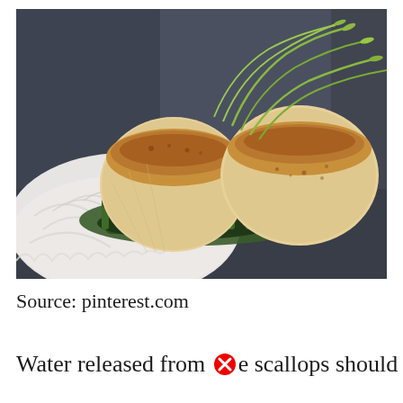[Figure (photo): Close-up food photography of two seared scallops served on a white scallop shell, topped with microgreens, resting on a bed of cooked asparagus with sauce, on a dark slate background.]
Source: pinterest.com
Water released from [X] e scallops should